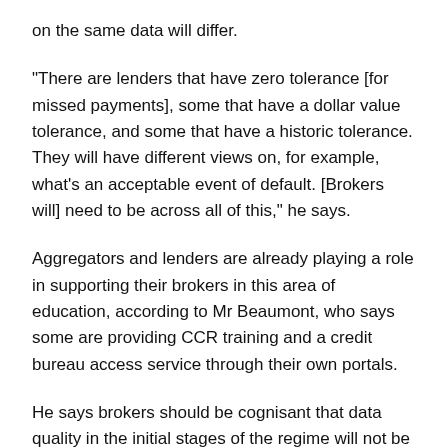on the same data will differ.
“There are lenders that have zero tolerance [for missed payments], some that have a dollar value tolerance, and some that have a historic tolerance. They will have different views on, for example, what’s an acceptable event of default. [Brokers will] need to be across all of this,” he says.
Aggregators and lenders are already playing a role in supporting their brokers in this area of education, according to Mr Beaumont, who says some are providing CCR training and a credit bureau access service through their own portals.
He says brokers should be cognisant that data quality in the initial stages of the regime will not be perfect, but it will improve over time. As such, lenders also need to ensure, especially with negative CCR data, that it is